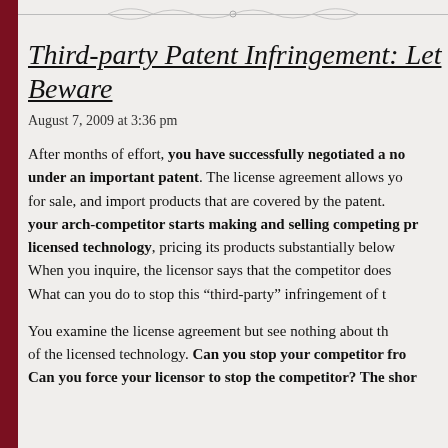Third-party Patent Infringement: Let Beware
August 7, 2009 at 3:36 pm
After months of effort, you have successfully negotiated a nonexclusive license under an important patent. The license agreement allows you to make, use, offer for sale, and import products that are covered by the patent. Then one day, your arch-competitor starts making and selling competing products using the licensed technology, pricing its products substantially below your prices. When you inquire, the licensor says that the competitor does not have a license. What can you do to stop this "third-party" infringement of the patent?
You examine the license agreement but see nothing about the licensor's policing of the licensed technology. Can you stop your competitor from infringing? Can you force your licensor to stop the competitor? The shor